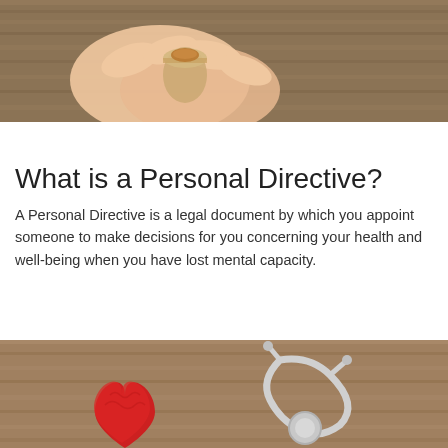[Figure (photo): Hands holding a small glass jar with coins on a wooden table background]
What is a Personal Directive?
A Personal Directive is a legal document by which you appoint someone to make decisions for you concerning your health and well-being when you have lost mental capacity.
[Figure (photo): Red knitted heart and a stethoscope lying on a wooden surface]